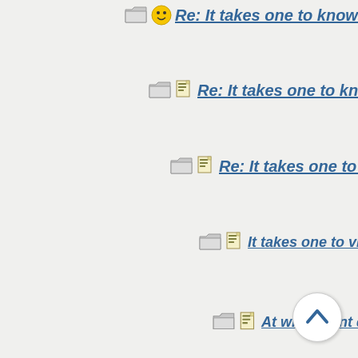Re: It takes one to know one
Re: It takes one to know one
Re: It takes one to know one
It takes one to visualixe* one
At what point does a Dirgable b...
Re: At what point does a Dirg...
A Word A Day: Whatever m...
Caution: YUK Alert
Caution: Putdown Ale...
Caution: PC Alert
Ineluctable is an...